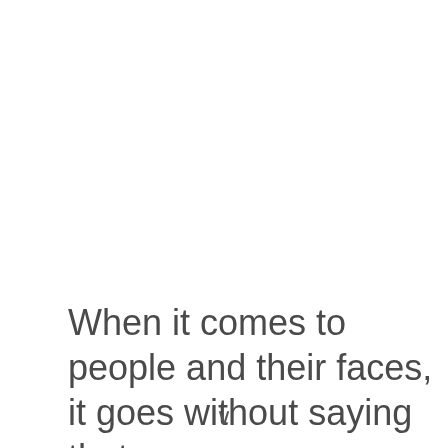When it comes to people and their faces, it goes without saying that people always like to look their best. If